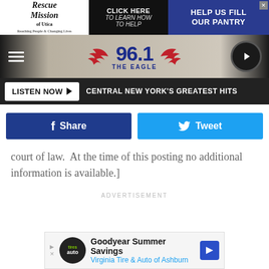[Figure (screenshot): Top ad banner for Rescue Mission of Utica with text: CLICK HERE TO LEARN HOW TO HELP and HELP US FILL OUR PANTRY]
[Figure (logo): 96.1 The Eagle radio station logo bar with hamburger menu and play button]
[Figure (screenshot): Listen Now button with text: CENTRAL NEW YORK'S GREATEST HITS]
[Figure (screenshot): Facebook Share button and Twitter Tweet button]
court of law.  At the time of this posting no additional information is available.]
ADVERTISEMENT
[Figure (screenshot): Goodyear Summer Savings advertisement for Virginia Tire & Auto of Ashburn]